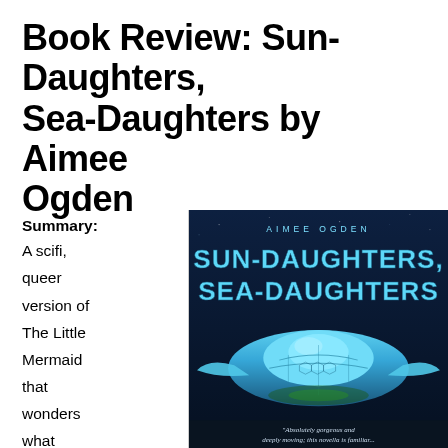Book Review: Sun-Daughters, Sea-Daughters by Aimee Ogden
Summary: A scifi, queer version of The Little Mermaid that wonders what happens after Ariel
[Figure (photo): Book cover of Sun-Daughters, Sea-Daughters by Aimee Ogden. Dark blue background with large stylized title text in cyan/white. Author name at top. Lower portion shows a futuristic manta-ray-like spacecraft in blue tones. Bottom has a blurb: 'Absolutely gorgeous and deeply moving; this novella is familiar...']